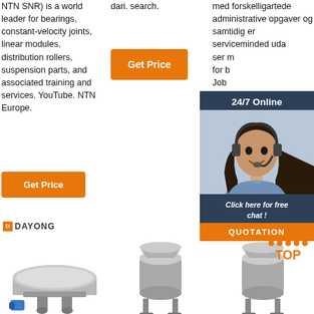NTN SNR) is a world leader for bearings, constant-velocity joints, linear modules, distribution rollers, suspension parts, and associated training and services. YouTube. NTN Europe.
dari. search.
med forskelligartede administrative opgaver og samtidig er serviceminded uda... ser m... for b... Job 20.1...
[Figure (infographic): 24/7 Online chat widget with photo of woman wearing headset, dark blue background, orange 'Click here for free chat!' and QUOTATION button]
[Figure (logo): DAYONG logo with orange square icon]
[Figure (photo): Three industrial vibrating sieve/filter machines shown in a row at the bottom of the page]
[Figure (logo): TOP logo with orange dots arranged in triangle above text]